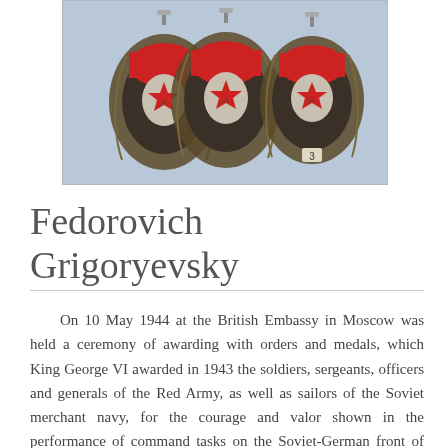[Figure (photo): Photograph of three Soviet Order of the Red Banner medals with red enamel and silver-toned metalwork, displayed side by side against a light blue background.]
Fedorovich Grigoryevsky
On 10 May 1944 at the British Embassy in Moscow was held a ceremony of awarding with orders and medals, which King George VI awarded in 1943 the soldiers, sergeants, officers and generals of the Red Army, as well as sailors of the Soviet merchant navy, for the courage and valor shown in the performance of command tasks on the Soviet-German front of the fight against Hitler's Germany - the common enemy of the Soviet Union and Britain. One of